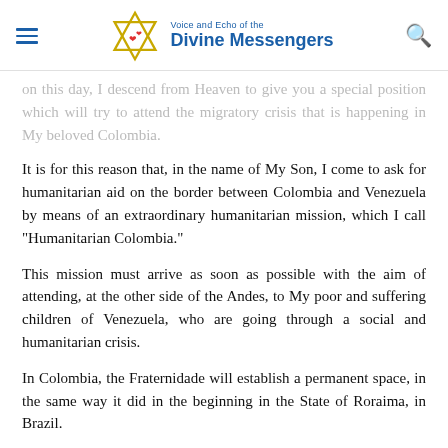Voice and Echo of the Divine Messengers
on this day, I descend from Heaven to give you a special position which will try to attend the migratory crisis that is happening in My beloved Colombia.
It is for this reason that, in the name of My Son, I come to ask for humanitarian aid on the border between Colombia and Venezuela by means of an extraordinary humanitarian mission, which I call "Humanitarian Colombia."
This mission must arrive as soon as possible with the aim of attending, at the other side of the Andes, to My poor and suffering children of Venezuela, who are going through a social and humanitarian crisis.
In Colombia, the Fraternidade will establish a permanent space, in the same way it did in the beginning in the State of Roraima, in Brazil.